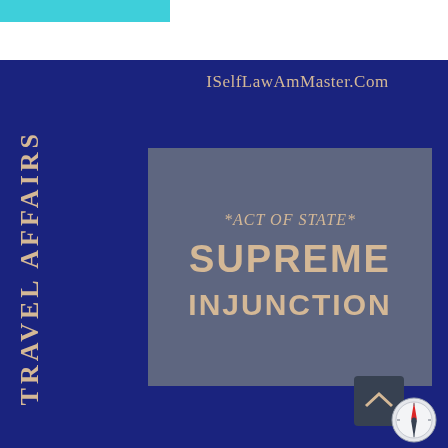[Figure (illustration): Book cover for 'Travel Affairs' legal document. Dark navy blue background with 'TRAVEL AFFAIRS' written vertically on the spine. A gray center box contains the text '*ACT OF STATE* SUPREME INJUNCTION'. Website URL 'ISelfLawAmMaster.Com' at top. Small compass/magnifying glass icon in bottom right corner. Teal bar at top left.]
ISelfLawAmMaster.Com
TRAVEL AFFAIRS
*ACT OF STATE* SUPREME INJUNCTION